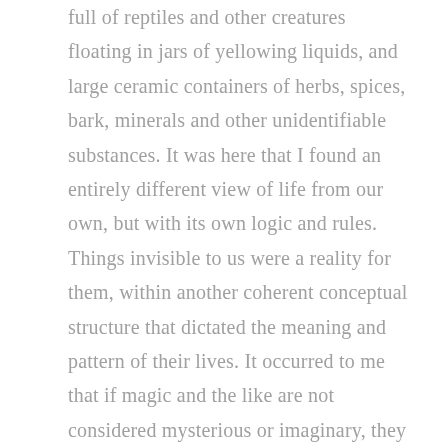full of reptiles and other creatures floating in jars of yellowing liquids, and large ceramic containers of herbs, spices, bark, minerals and other unidentifiable substances. It was here that I found an entirely different view of life from our own, but with its own logic and rules. Things invisible to us were a reality for them, within another coherent conceptual structure that dictated the meaning and pattern of their lives. It occurred to me that if magic and the like are not considered mysterious or imaginary, they can become something to be worked with. It just required a shift of focus, which this whole community I was introduced into seemed to have achieved. There was a ragged, tattered heap of a man crouched each day in the opposite corner of the courtyard. He was clearly mad, and I asked one day what had happened to him. 'He got too involved with the pharmacies,' came the